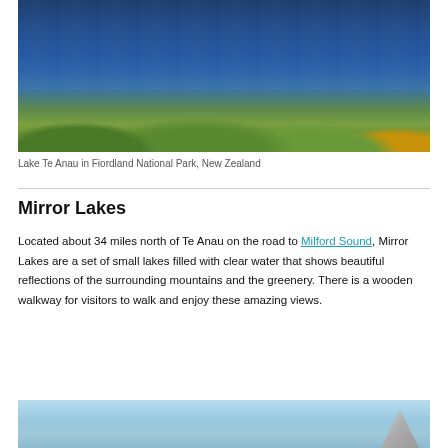[Figure (photo): Aerial or elevated view of Lake Te Anau in Fiordland National Park, New Zealand, showing deep blue water with green and yellow-green trees and shrubs in the foreground.]
Lake Te Anau in Fiordland National Park, New Zealand
Mirror Lakes
Located about 34 miles north of Te Anau on the road to Milford Sound, Mirror Lakes are a set of small lakes filled with clear water that shows beautiful reflections of the surrounding mountains and the greenery. There is a wooden walkway for visitors to walk and enjoy these amazing views.
[Figure (photo): Partial view of another scenic photo at the bottom of the page, showing light blue sky and water.]